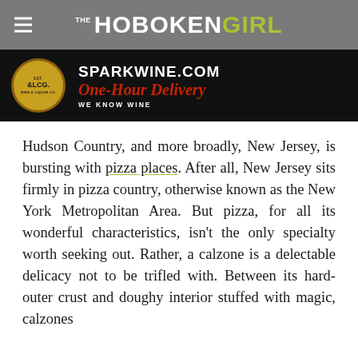THE HOBOKEN GIRL
[Figure (other): Advertisement banner for sparkwine.com featuring wine and liquor co. logo, 'One-Hour Delivery' text in red italic on black background]
Hudson Country, and more broadly, New Jersey, is bursting with pizza places. After all, New Jersey sits firmly in pizza country, otherwise known as the New York Metropolitan Area. But pizza, for all its wonderful characteristics, isn't the only specialty worth seeking out. Rather, a calzone is a delectable delicacy not to be trifled with. Between its hard-outer crust and doughy interior stuffed with magic, calzones